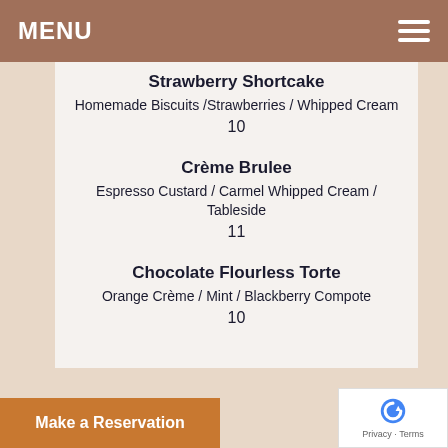MENU
Strawberry Shortcake
Homemade Biscuits /Strawberries / Whipped Cream
10
Crème Brulee
Espresso Custard / Carmel Whipped Cream / Tableside
11
Chocolate Flourless Torte
Orange Crème / Mint / Blackberry Compote
10
Make a Reservation